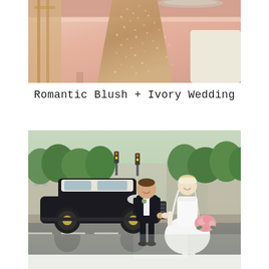[Figure (photo): Close-up photo of a blush pink satin tablecloth with a rose gold sequin table runner draped over a rectangular table, with a gold chiavari chair visible on the left and an ivory upholstered bench on the right.]
Romantic Blush + Ivory Wedding
[Figure (photo): Wedding couple standing hand-in-hand on a city street beside a vintage black and cream antique automobile. The groom wears a black tuxedo and the bride wears a white strapless ball gown and veil, holding a pink bouquet. Green trees and city buildings visible in the background.]